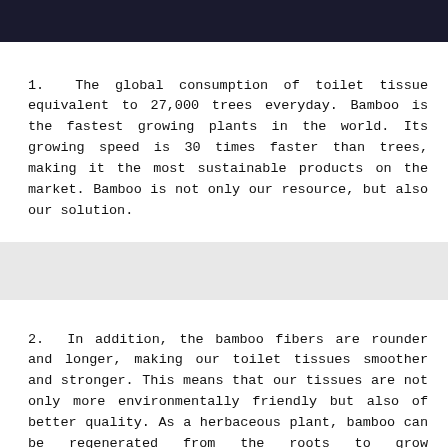[Figure (photo): Dark header image at the top of the page, appears to be a dark background photo]
1. The global consumption of toilet tissue equivalent to 27,000 trees everyday. Bamboo is the fastest growing plants in the world. Its growing speed is 30 times faster than trees, making it the most sustainable products on the market. Bamboo is not only our resource, but also our solution.
2. In addition, the bamboo fibers are rounder and longer, making our toilet tissues smoother and stronger. This means that our tissues are not only more environmentally friendly but also of better quality. As a herbaceous plant, bamboo can be regenerated from the roots to grow continuously without fertilization and repeated planting